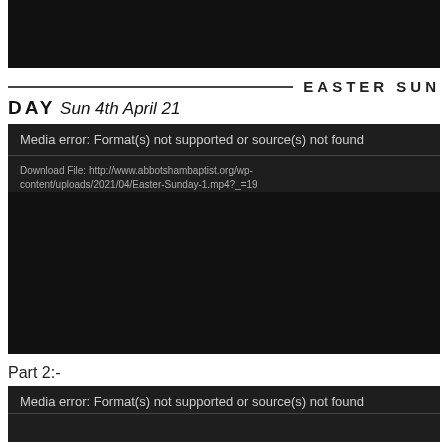[Figure (screenshot): Black rectangle area at top of page, representing a video player or media block with no content visible]
EASTER SUNDAY Sun 4th April 21
[Figure (screenshot): Media player error box: 'Media error: Format(s) not supported or source(s) not found'. Download File: http://www.abbotshambaptist.org/wp-content/uploads/2021/04/Easter-Sunday-1.mp4?_=19. Followed by large black video area.]
Part 2:-
[Figure (screenshot): Second media player error box: 'Media error: Format(s) not supported or source(s) not found']